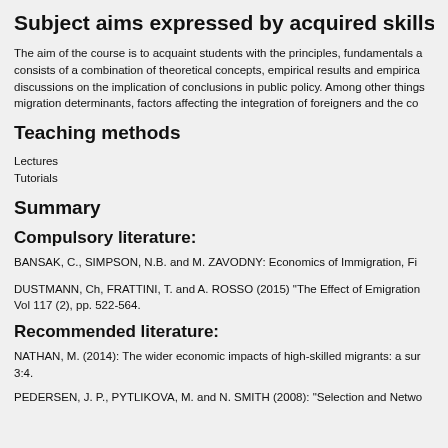Subject aims expressed by acquired skills and co
The aim of the course is to acquaint students with the principles, fundamentals a consists of a combination of theoretical concepts, empirical results and empirica discussions on the implication of conclusions in public policy. Among other things migration determinants, factors affecting the integration of foreigners and the co
Teaching methods
Lectures
Tutorials
Summary
Compulsory literature:
BANSAK, C., SIMPSON, N.B. and M. ZAVODNY: Economics of Immigration, Fi
DUSTMANN, Ch, FRATTINI, T. and A. ROSSO (2015) "The Effect of Emigration Vol 117 (2), pp. 522-564.
Recommended literature:
NATHAN, M. (2014): The wider economic impacts of high-skilled migrants: a sur 3:4.
PEDERSEN, J. P., PYTLIKOVA, M. and N. SMITH (2008): "Selection and Netwo